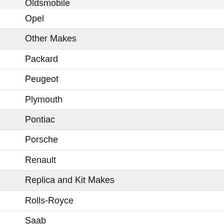Oldsmobile
Opel
Other Makes
Packard
Peugeot
Plymouth
Pontiac
Porsche
Renault
Replica and Kit Makes
Rolls-Royce
Saab
Saleen
Saturn
Shelby
Studebaker
Subaru
Suzuki
Toyota